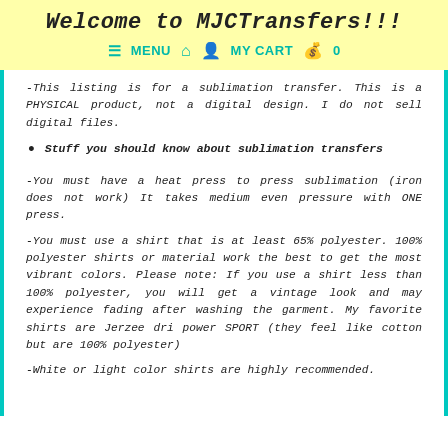Welcome to MJCTransfers!!!
≡ MENU 🏠 👤 MY CART 🛍 0
-This listing is for a sublimation transfer. This is a PHYSICAL product, not a digital design. I do not sell digital files.
Stuff you should know about sublimation transfers
-You must have a heat press to press sublimation (iron does not work) It takes medium even pressure with ONE press.
-You must use a shirt that is at least 65% polyester. 100% polyester shirts or material work the best to get the most vibrant colors. Please note: If you use a shirt less than 100% polyester, you will get a vintage look and may experience fading after washing the garment. My favorite shirts are Jerzee dri power SPORT (they feel like cotton but are 100% polyester)
-White or light color shirts are highly recommended.